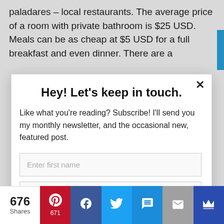paladares – local restaurants. The average price of a room with private bathroom is $25 USD. Meals can be as cheap at $5 USD for a full breakfast and even dinner. There are a
Hey! Let's keep in touch.
Like what you're reading? Subscribe! I'll send you my monthly newsletter, and the occasional new, featured post.
Enter first name
Enter your email
Subscribe
676 Shares